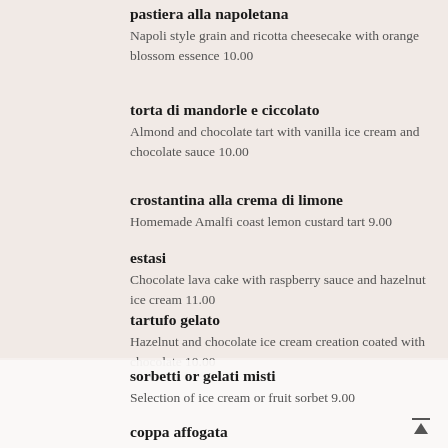pastiera alla napoletana
Napoli style grain and ricotta cheesecake with orange blossom essence 10.00
torta di mandorle e ciccolato
Almond and chocolate tart with vanilla ice cream and chocolate sauce 10.00
crostantina alla crema di limone
Homemade Amalfi coast lemon custard tart 9.00
estasi
Chocolate lava cake with raspberry sauce and hazelnut ice cream 11.00
tartufo gelato
Hazelnut and chocolate ice cream creation coated with chocolate 10.00
sorbetti or gelati misti
Selection of ice cream or fruit sorbet 9.00
coppa affogata